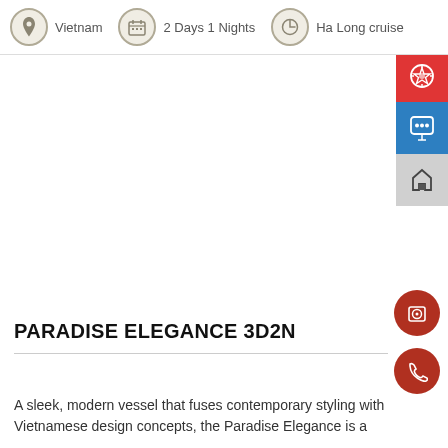Vietnam  |  2 Days 1 Nights  |  Ha Long cruise
PARADISE ELEGANCE 3D2N
A sleek, modern vessel that fuses contemporary styling with Vietnamese design concepts, the Paradise Elegance is a